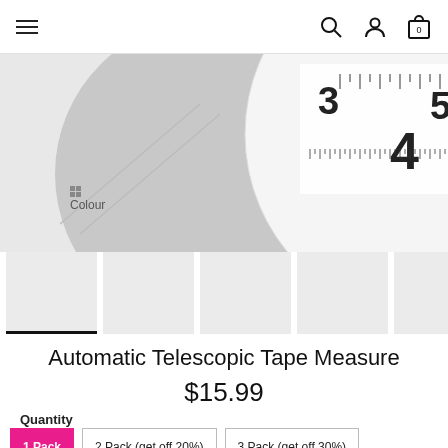Navigation bar with hamburger menu, search, account, and cart (0) icons
[Figure (photo): Product image of an Automatic Telescopic Tape Measure on grey background, with a colour swatch selector label]
[Figure (photo): Thumbnail strip showing 5 product image thumbnails; first thumbnail has active underline indicator]
Automatic Telescopic Tape Measure
$15.99
Quantity
1 Pack
2 Pack (get off 20%)
3 Pack (get off 30%)